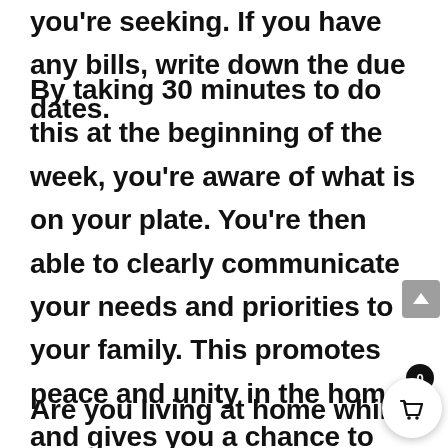you're seeking. If you have any bills, write down the due dates.
By taking 30 minutes to do this at the beginning of the week, you're aware of what is on your plate. You're then able to clearly communicate your needs and priorities to your family. This promotes peace and unity in the home, and gives you a chance to work through any areas of disagreement.
Are you living at home while